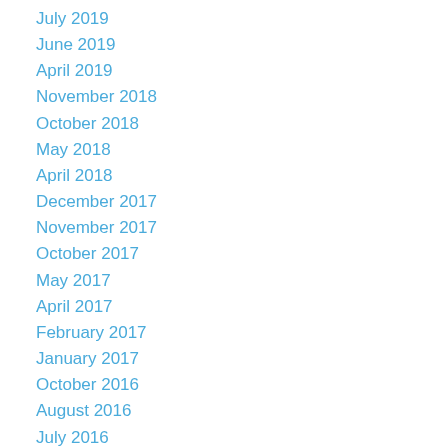July 2019
June 2019
April 2019
November 2018
October 2018
May 2018
April 2018
December 2017
November 2017
October 2017
May 2017
April 2017
February 2017
January 2017
October 2016
August 2016
July 2016
June 2016
May 2016
April 2016